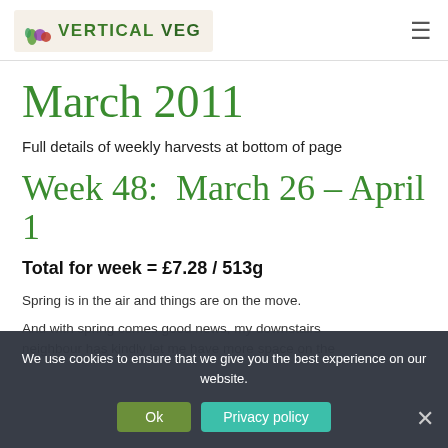VERTICAL VEG
March 2011
Full details of weekly harvests at bottom of page
Week 48:  March 26 – April 1
Total for week = £7.28 / 513g
Spring is in the air and things are on the move.
And with spring comes good news, my downstairs neighbour has kindly let me have more space on the
We use cookies to ensure that we give you the best experience on our website.